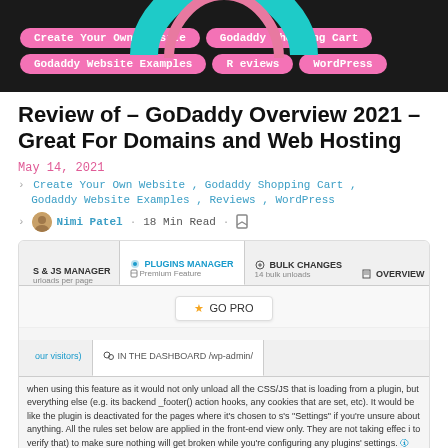[Figure (screenshot): Website header banner with dark background, teal/pink logo shape at top, and navigation pill buttons: Create Your Own Website, Godaddy Shopping Cart, Godaddy Website Examples, Reviews, WordPress]
Review of – GoDaddy Overview 2021 – Great For Domains and Web Hosting
May 14, 2021
Create Your Own Website , Godaddy Shopping Cart , Godaddy Website Examples , Reviews , WordPress
Nimi Patel · 18 Min Read ·
[Figure (screenshot): Web interface screenshot showing plugin manager tabs including CSS & JS MANAGER, PLUGINS MANAGER (active, Premium Feature), BULK CHANGES (14 bulk uploads), OVERVIEW, TOOLS, and a GO PRO button. Below shows a second tab row with partial tab and IN THE DASHBOARD /wp-admin/ tab. Followed by descriptive text about the feature and a Read more link.]
when using this feature as it would not only unload all the CSS/JS that is loading from a plugin, but everything else (e.g. its backend _footer() action hooks, any cookies that are set, etc). It would be like the plugin is deactivated for the pages where it's chosen to s's "Settings" if you're unsure about anything. All the rules set below are applied in the front-end view only. They are not taking effec i to verify that) to make sure nothing will get broken while you're configuring any plugins' settings. Read more
using a plugin in both admin/frontend pages, the most effective way would be to deactivate it from the "Plugins" -> "Installed Plugin
ded by default)